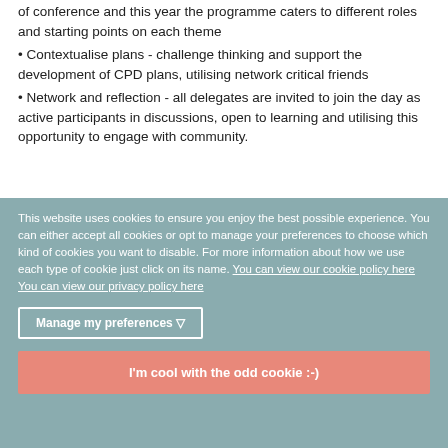of conference and this year the programme caters to different roles and starting points on each theme
Contextualise plans - challenge thinking and support the development of CPD plans, utilising network critical friends
Network and reflection - all delegates are invited to join the day as active participants in discussions, open to learning and utilising this opportunity to engage with community.
This website uses cookies to ensure you enjoy the best possible experience. You can either accept all cookies or opt to manage your preferences to choose which kind of cookies you want to disable. For more information about how we use each type of cookie just click on its name. You can view our cookie policy here You can view our privacy policy here
Manage my preferences ▽
I'm cool with the odd cookie :-)